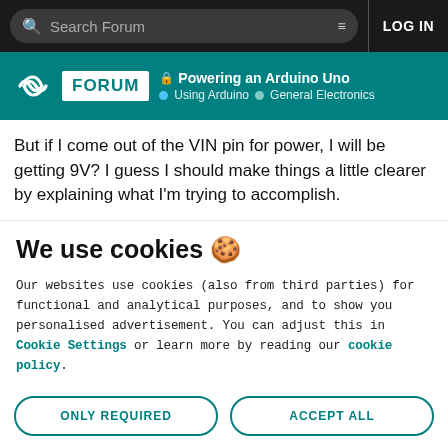Search Forum | LOG IN
🔒 Powering an Arduino Uno | Using Arduino | General Electronics
But if I come out of the VIN pin for power, I will be getting 9V? I guess I should make things a little clearer by explaining what I'm trying to accomplish.
We use cookies 🍪
Our websites use cookies (also from third parties) for functional and analytical purposes, and to show you personalised advertisement. You can adjust this in Cookie Settings or learn more by reading our cookie policy.
ONLY REQUIRED
ACCEPT ALL